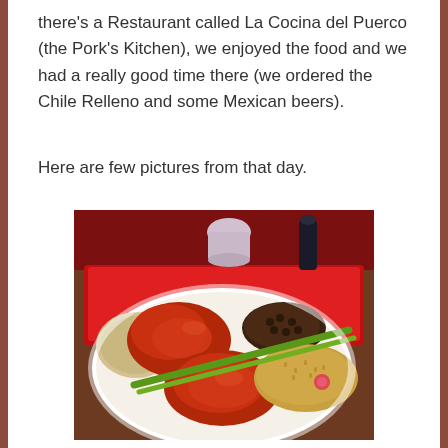there's a Restaurant called La Cocina del Puerco (the Pork's Kitchen), we enjoyed the food and we had a really good time there (we ordered the Chile Relleno and some Mexican beers).
Here are few pictures from that day.
[Figure (photo): A plate of Mexican food with Chile Relleno covered in red sauce, black beans, rice, green onions, and a tortilla. A small condiment cup is visible in the background on a red and white table.]